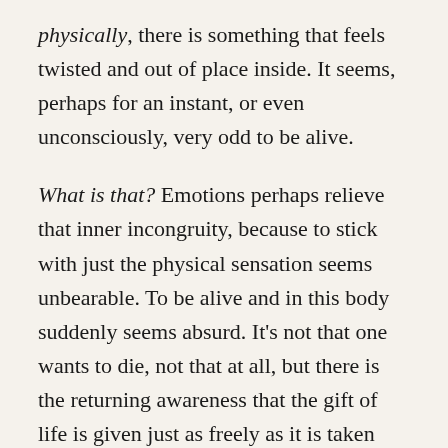physically, there is something that feels twisted and out of place inside. It seems, perhaps for an instant, or even unconsciously, very odd to be alive.
What is that? Emotions perhaps relieve that inner incongruity, because to stick with just the physical sensation seems unbearable. To be alive and in this body suddenly seems absurd. It's not that one wants to die, not that at all, but there is the returning awareness that the gift of life is given just as freely as it is taken away. A thing the body knows, but the mind forgets. The